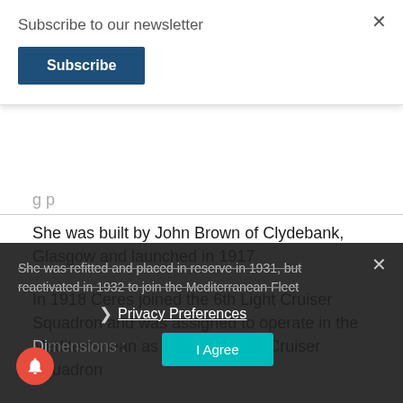Subscribe to our newsletter
Subscribe
She was built by John Brown of Clydebank, Glasgow and launched in 1917
In 1918 Ceres joined the 6th Light Cruiser Squadron and was assigned to operate in the Mediterranean as part of the 3rd Cruiser Squadron
She was refitted and placed in reserve in 1931, but reactivated in 1932 to join the Mediterranean Fleet
Privacy Preferences
I Agree
Dimensions :